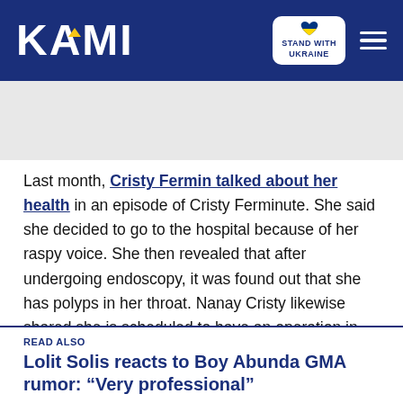KAMI | STAND WITH UKRAINE
Last month, Cristy Fermin talked about her health in an episode of Cristy Ferminute. She said she decided to go to the hospital because of her raspy voice. She then revealed that after undergoing endoscopy, it was found out that she has polyps in her throat. Nanay Cristy likewise shared she is scheduled to have an operation in August.
READ ALSO
Lolit Solis reacts to Boy Abunda GMA rumor: “Very professional”
Cristy Fermin underwent polyp throat surgery last August 15 at St. Luke’s Medical Center in Taguig City. The doctors